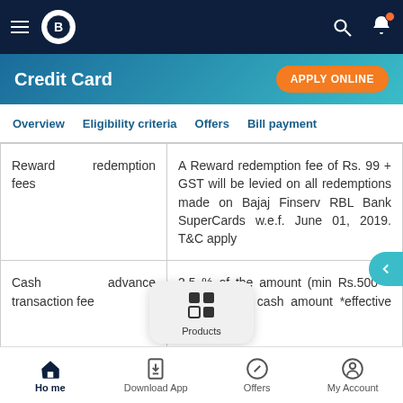[Figure (screenshot): Mobile app top navigation bar with hamburger menu, Bajaj Finserv logo, search icon, and notification bell icon with orange dot]
Credit Card
APPLY ONLINE
Overview   Eligibility criteria   Offers   Bill payment
|  |  |
| --- | --- |
| Reward redemption fees | A Reward redemption fee of Rs. 99 + GST will be levied on all redemptions made on Bajaj Finserv RBL Bank SuperCards w.e.f. June 01, 2019. T&C apply |
| Cash advance transaction fee | 2.5 % of the amount (min Rs.500 + GST) of the cash amount *effective July'20 |
[Figure (screenshot): Bottom navigation bar with Home, Download App, Products, Offers, and My Account icons]